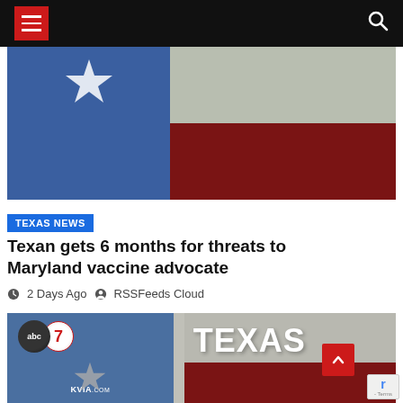Navigation bar with hamburger menu and search icon
[Figure (photo): Texas state flag painted on a brick wall — blue left section with white star, white and red horizontal stripes on the right]
TEXAS NEWS
Texan gets 6 months for threats to Maryland vaccine advocate
2 Days Ago  RSSFeeds Cloud
[Figure (photo): KVIA ABC7 news station logo with Texas text overlay on a composite background of blue brick (left) and grey/red brick (right)]